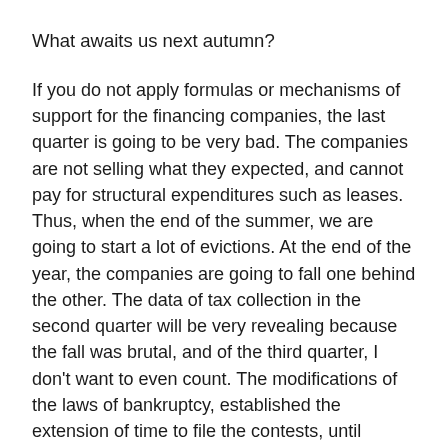What awaits us next autumn?
If you do not apply formulas or mechanisms of support for the financing companies, the last quarter is going to be very bad. The companies are not selling what they expected, and cannot pay for structural expenditures such as leases. Thus, when the end of the summer, we are going to start a lot of evictions. At the end of the year, the companies are going to fall one behind the other. The data of tax collection in the second quarter will be very revealing because the fall was brutal, and of the third quarter, I don't want to even count. The modifications of the laws of bankruptcy, established the extension of time to file the contests, until December 31, and from November-December is going to be a multitude of companies that will file bankruptcy, and in consequence, they are closing and will lay off.
why are there still delays in the manure of thousands of